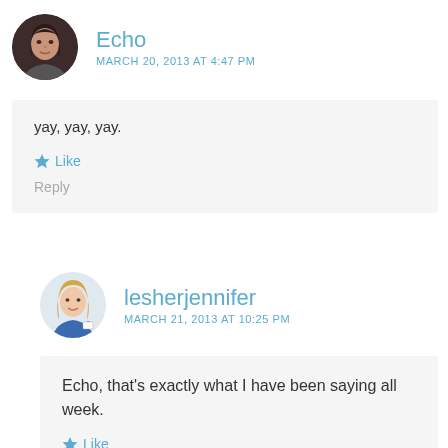Echo
MARCH 20, 2013 AT 4:47 PM
[Figure (photo): Circular avatar photo of a woman with dark hair]
yay, yay, yay.
Like
Reply
[Figure (illustration): Circular avatar illustration of a blonde woman in blue uniform]
lesherjennifer
MARCH 21, 2013 AT 10:25 PM
Echo, that’s exactly what I have been saying all week.
Like